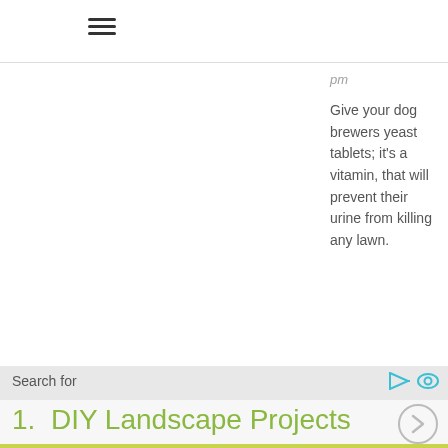[Figure (other): Hamburger menu icon (three horizontal lines)]
pm
Give your dog brewers yeast tablets; it's a vitamin, that will prevent their urine from killing any lawn.
Search for
1.  DIY Landscape Projects